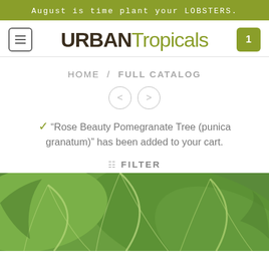August is time plant your LOBSTERS.
URBAN Tropicals
HOME / FULL CATALOG
“Rose Beauty Pomegranate Tree (punica granatum)” has been added to your cart.
FILTER
[Figure (photo): Close-up photograph of large tropical leaves, green with lighter yellow-green variegation along the veins]